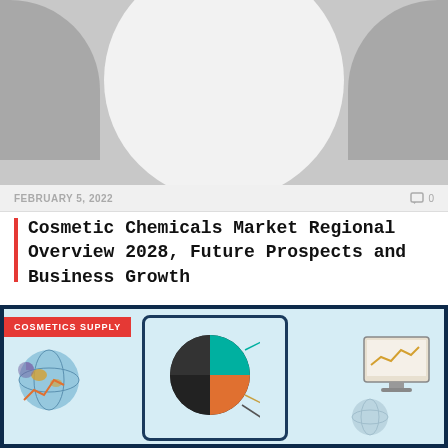[Figure (illustration): Grayscale placeholder image with a large white circle on gray background, with darker gray shadows on left and right corners]
FEBRUARY 5, 2022
0
Cosmetic Chemicals Market Regional Overview 2028, Future Prospects and Business Growth
The Global Cosmetic Chemicals Market report covers the problems existing in the global Cosmetic...
[Figure (infographic): Cosmetics Supply infographic with pie chart, bar chart, globe, and monitor graphics on blue background with dark navy border]